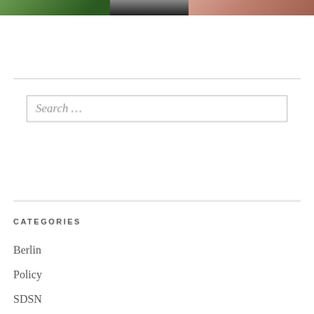[Figure (photo): Partial view of a photo strip at top of page showing foliage on left, dark clothing in middle, and a person's face/skin on right]
Search …
CATEGORIES
Berlin
Policy
SDSN